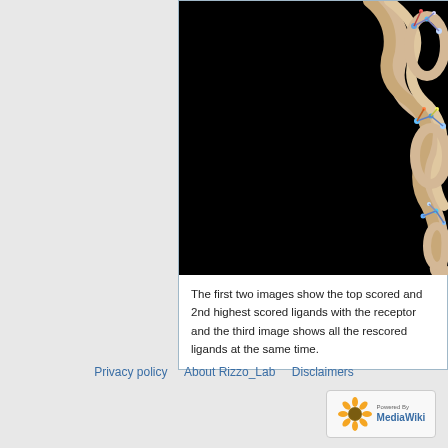[Figure (photo): Molecular visualization image on black background showing protein receptor structure with ligand molecules. Tan/beige ribbon structure of protein with colorful (blue, red, white, yellow) small molecule ligands visible on right side against black background.]
The first two images show the top scored and 2nd highest scored ligands with the receptor and the third image shows all the rescored ligands at the same time.
Privacy policy   About Rizzo_Lab   Disclaimers